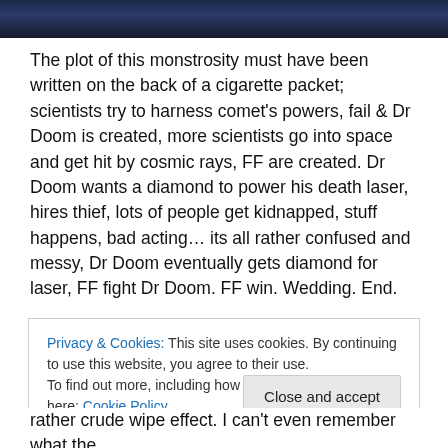[Figure (photo): Partial top image showing dark blue/navy colored photograph, cropped at top of page]
The plot of this monstrosity must have been written on the back of a cigarette packet; scientists try to harness comet's powers, fail & Dr Doom is created, more scientists go into space and get hit by cosmic rays, FF are created. Dr Doom wants a diamond to power his death laser, hires thief, lots of people get kidnapped, stuff happens, bad acting… its all rather confused and messy, Dr Doom eventually gets diamond for laser, FF fight Dr Doom. FF win. Wedding. End.
Privacy & Cookies: This site uses cookies. By continuing to use this website, you agree to their use. To find out more, including how to control cookies, see here: Cookie Policy
Close and accept
rather crude wipe effect. I can't even remember what the